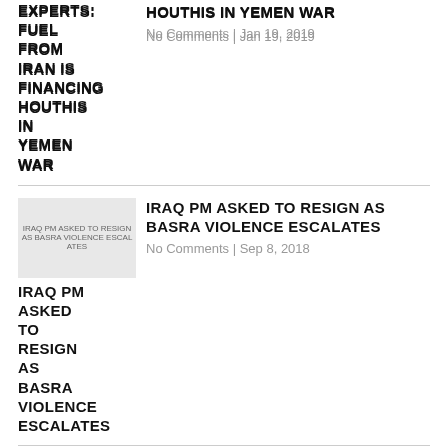EXPERTS: FUEL FROM IRAN IS FINANCING HOUTHIS IN YEMEN WAR
No Comments | Jan 19, 2019
IRAQ PM ASKED TO RESIGN AS BASRA VIOLENCE ESCALATES
No Comments | Sep 8, 2018
TENSE CALM IN GAZA AFTER ISRAEL, HAMAS